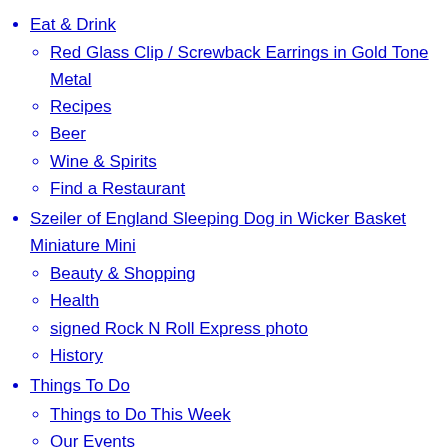Eat & Drink
Red Glass Clip / Screwback Earrings in Gold Tone Metal
Recipes
Beer
Wine & Spirits
Find a Restaurant
Szeiler of England Sleeping Dog in Wicker Basket Miniature Mini
Beauty & Shopping
Health
signed Rock N Roll Express photo
History
Things To Do
Things to Do This Week
Our Events
Arts & Culture
Day Trip Guide
Outdoors Guide
Events Calendar
Home & Property
Home & Garden